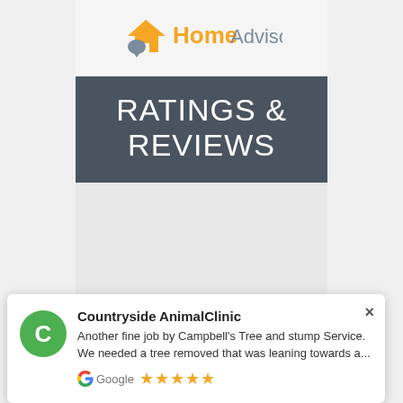[Figure (logo): HomeAdvisor logo with orange house/arrow icon and gray speech bubble, orange 'Home' text and gray 'Advisor' text]
RATINGS & REVIEWS
[Figure (infographic): Gray area placeholder below the ratings & reviews banner]
Countryside AnimalClinic
Another fine job by Campbell's Tree and stump Service. We needed a tree removed that was leaning towards a...
Google ★★★★★